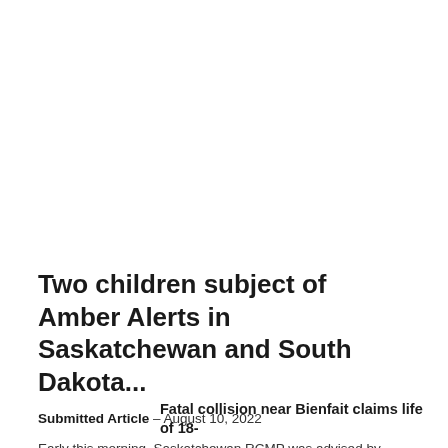Two children subject of Amber Alerts in Saskatchewan and South Dakota...
Submitted Article – August 10, 2022
Early this morning, Saskatchewan RCMP was advised by their policing partners in the United States that the four individuals who were the subject of...
Fatal collision near Bienfait claims life of 18-